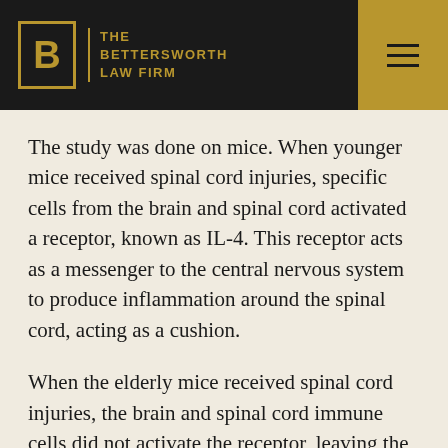[Figure (logo): The Bettersworth Law Firm logo with golden B in a box on dark background, with hamburger menu icon on gold background]
The study was done on mice. When younger mice received spinal cord injuries, specific cells from the brain and spinal cord activated a receptor, known as IL-4. This receptor acts as a messenger to the central nervous system to produce inflammation around the spinal cord, acting as a cushion.
When the elderly mice received spinal cord injuries, the brain and spinal cord immune cells did not activate the receptor, leaving the spinal cord without the extra protection that